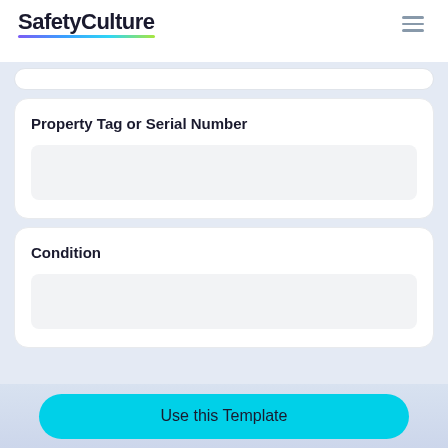SafetyCulture
Property Tag or Serial Number
Condition
Use this Template